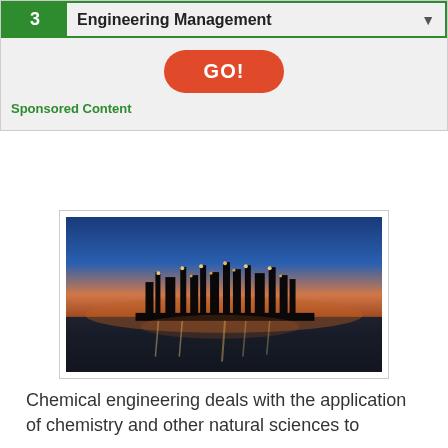[Figure (screenshot): Dropdown UI element showing '3 Engineering Management' with a green border and number badge, a red GO! button, and 'Sponsored Content' label below]
[Figure (photo): Industrial chemical plant / oil refinery at night with illuminated structures reflected in water, dramatic orange and blue sunset sky]
Chemical engineering deals with the application of chemistry and other natural sciences to manufacturing processes and for overseeing the...